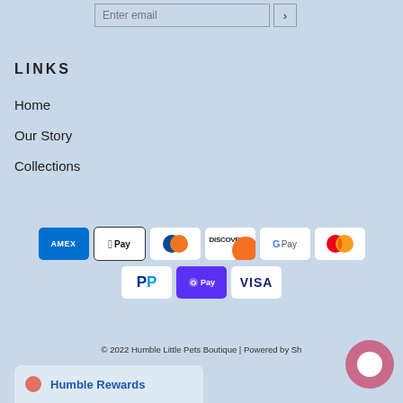Enter email
LINKS
Home
Our Story
Collections
[Figure (logo): Payment method icons: AMEX, Apple Pay, Diners Club, Discover, Google Pay, Mastercard, PayPal, Shop Pay, Visa]
© 2022 Humble Little Pets Boutique | Powered by Sh...
Humble Rewards